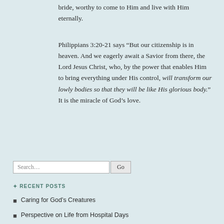bride, worthy to come to Him and live with Him eternally.
Philippians 3:20-21 says “But our citizenship is in heaven. And we eagerly await a Savior from there, the Lord Jesus Christ, who, by the power that enables Him to bring everything under His control, will transform our lowly bodies so that they will be like His glorious body.” It is the miracle of God’s love.
Search...
RECENT POSTS
Caring for God’s Creatures
Perspective on Life from Hospital Days